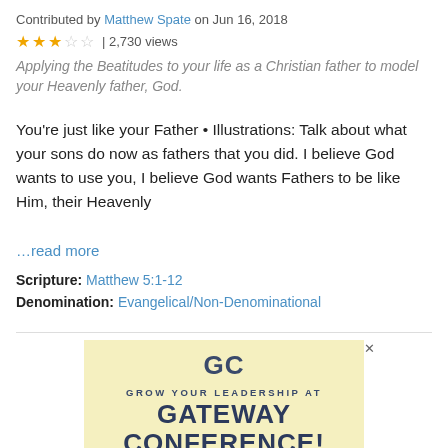Contributed by Matthew Spate on Jun 16, 2018
★★★☆☆ | 2,730 views
Applying the Beatitudes to your life as a Christian father to model your Heavenly father, God.
You're just like your Father • Illustrations: Talk about what your sons do now as fathers that you did. I believe God wants to use you, I believe God wants Fathers to be like Him, their Heavenly
…read more
Scripture: Matthew 5:1-12
Denomination: Evangelical/Non-Denominational
[Figure (infographic): Advertisement banner for Gateway Conference with yellow background, GC logo, text 'GROW YOUR LEADERSHIP AT GATEWAY CONFERENCE! SEP 26-27, 2022', orange/red wave at bottom.]